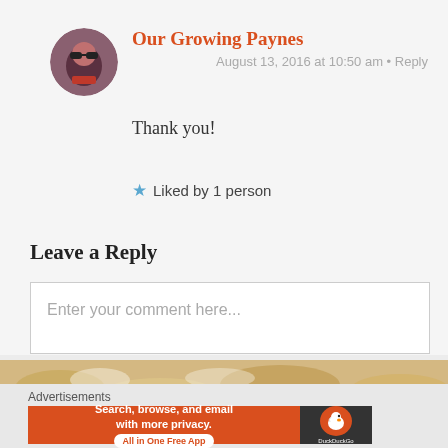Our Growing Paynes
August 13, 2016 at 10:50 am • Reply
Thank you!
★ Liked by 1 person
Leave a Reply
Enter your comment here...
[Figure (photo): Food photo strip showing baked goods on wooden surface]
Advertisements
[Figure (infographic): DuckDuckGo advertisement banner: Search, browse, and email with more privacy. All in One Free App]